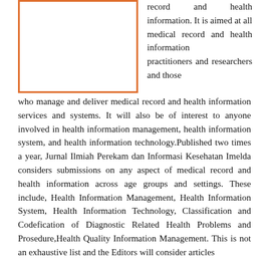[Figure (other): Orange-bordered empty rectangle placeholder image]
record and health information. It is aimed at all medical record and health information practitioners and researchers and those who manage and deliver medical record and health information services and systems. It will also be of interest to anyone involved in health information management, health information system, and health information technology.Published two times a year, Jurnal Ilmiah Perekam dan Informasi Kesehatan Imelda considers submissions on any aspect of medical record and health information across age groups and settings. These include, Health Information Management, Health Information System, Health Information Technology, Classification and Codefication of Diagnostic Related Health Problems and Prosedure,Health Quality Information Management. This is not an exhaustive list and the Editors will consider articles